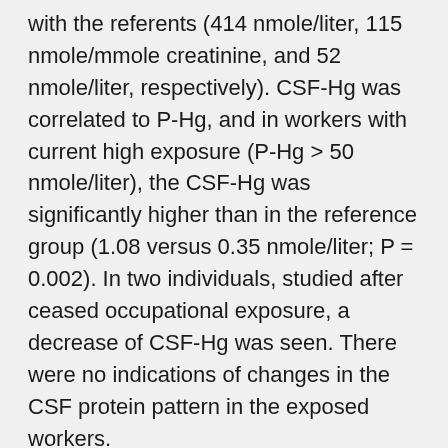with the referents (414 nmole/liter, 115 nmole/mmole creatinine, and 52 nmole/liter, respectively). CSF-Hg was correlated to P-Hg, and in workers with current high exposure (P-Hg > 50 nmole/liter), the CSF-Hg was significantly higher than in the reference group (1.08 versus 0.35 nmole/liter; P = 0.002). In two individuals, studied after ceased occupational exposure, a decrease of CSF-Hg was seen. There were no indications of changes in the CSF protein pattern in the exposed workers.
Mercury distribution in the mouse brain after mercury vapour exposure. Warfvinge K. Int J Exp Pathol. 1995 Feb; 76(1):29-35. 7734337 PubMed. Female SJL/N mice were exposed to mercury vapour 5 days/week for 10 weeks, at a mercury concentration of approximately 0.5 mg/m3, 19 h/day; 1 mg/m3, 3 h/day;